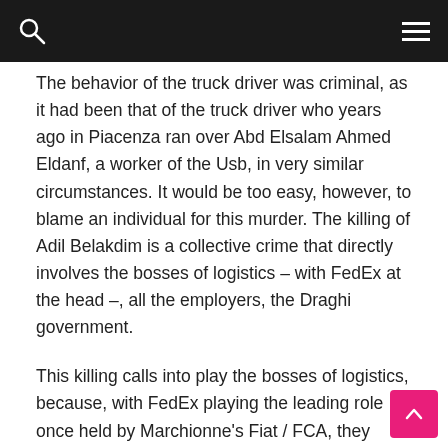[Navigation bar with search and menu icons]
The behavior of the truck driver was criminal, as it had been that of the truck driver who years ago in Piacenza ran over Abd Elsalam Ahmed Eldanf, a worker of the Usb, in very similar circumstances. It would be too easy, however, to blame an individual for this murder. The killing of Adil Belakdim is a collective crime that directly involves the bosses of logistics – with FedEx at the head –, all the employers, the Draghi government.
This killing calls into play the bosses of logistics, because, with FedEx playing the leading role once held by Marchionne's Fiat / FCA, they seem to be willing to launch a frontal attack on the immigrant proletariat working in the logistics sector; the very same proletariat that in a decade long cycle of struggles led by the SI